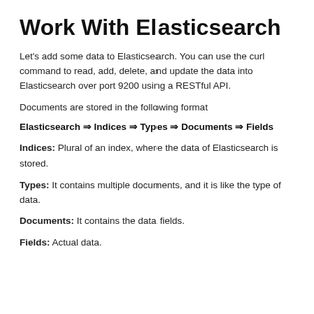Work With Elasticsearch
Let’s add some data to Elasticsearch. You can use the curl command to read, add, delete, and update the data into Elasticsearch over port 9200 using a RESTful API.
Documents are stored in the following format
Elasticsearch ⇒ Indices ⇒ Types ⇒ Documents ⇒ Fields
Indices: Plural of an index, where the data of Elasticsearch is stored.
Types: It contains multiple documents, and it is like the type of data.
Documents: It contains the data fields.
Fields: Actual data.